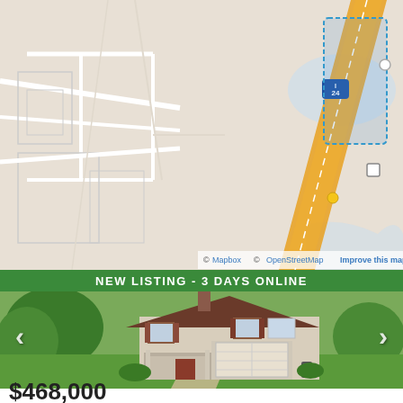[Figure (map): Mapbox/OpenStreetMap map showing an area near Interstate 24, with an orange highway corridor, blue-dotted boundaries, and street/terrain outlines. Attribution: © Mapbox © OpenStreetMap Improve this map]
[Figure (photo): Real estate listing photo of a two-story brick and siding house with a two-car garage, long concrete driveway, large green lawn, and mature trees. Banner overlay reads 'NEW LISTING - 3 DAYS ONLINE'. Navigation arrows visible on left and right sides of the photo.]
$468,000